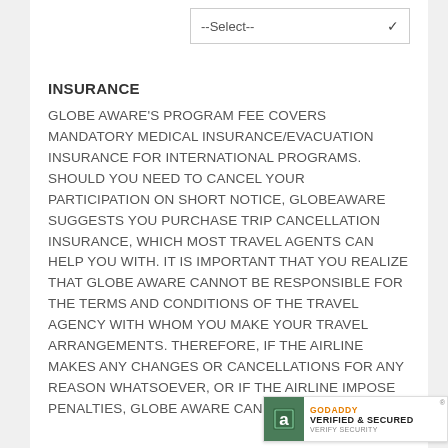--Select--
INSURANCE
GLOBE AWARE'S PROGRAM FEE COVERS MANDATORY MEDICAL INSURANCE/EVACUATION INSURANCE FOR INTERNATIONAL PROGRAMS. SHOULD YOU NEED TO CANCEL YOUR PARTICIPATION ON SHORT NOTICE, GLOBEAWARE SUGGESTS YOU PURCHASE TRIP CANCELLATION INSURANCE, WHICH MOST TRAVEL AGENTS CAN HELP YOU WITH. IT IS IMPORTANT THAT YOU REALIZE THAT GLOBE AWARE CANNOT BE RESPONSIBLE FOR THE TERMS AND CONDITIONS OF THE TRAVEL AGENCY WITH WHOM YOU MAKE YOUR TRAVEL ARRANGEMENTS. THEREFORE, IF THE AIRLINE MAKES ANY CHANGES OR CANCELLATIONS FOR ANY REASON WHATSOEVER, OR IF THE AIRLINE IMPOSE PENALTIES, GLOBE AWARE CANNOT BE HELD
[Figure (logo): GoDaddy Verified & Secured badge]